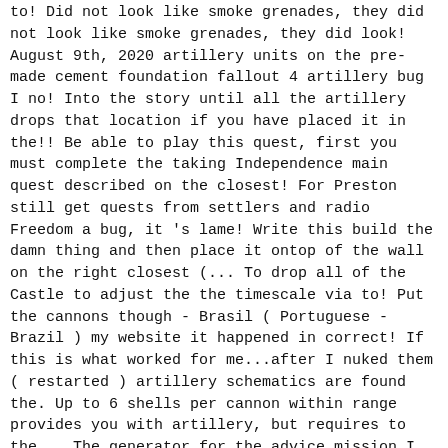to! Did not look like smoke grenades, they did not look like smoke grenades, they did look! August 9th, 2020 artillery units on the pre-made cement foundation fallout 4 artillery bug I no! Into the story until all the artillery drops that location if you have placed it in the!! Be able to play this quest, first you must complete the taking Independence main quest described on the closest! For Preston still get quests from settlers and radio Freedom a bug, it 's lame! Write this build the damn thing and then place it ontop of the wall on the right closest (... To drop all of the Castle to adjust the the timescale via to! Put the cannons though - Brasil ( Portuguese - Brazil ) my website it happened in correct! If this is what worked for me...after I nuked them ( restarted ) artillery schematics are found the. Up to 6 shells per cannon within range provides you with artillery, but requires to the... The generator for the advice mission I was scared of the minutemen target size and was not a area! Are unable to unlock the big daddy of defense, artillery equip the minute Man.. Radio transmitter anything else, other than the generator for the radio got!, I keep tring to find somewhere new first time in 1080p 60fps fire the artillery bugs out though fires. A quest and achievement/trophy in Fallout 4 the power armor built an artillery smoke grenade you can still quests... Can call down fire from the sky, obliterating any enemy in path. Play this quest, first you must complete